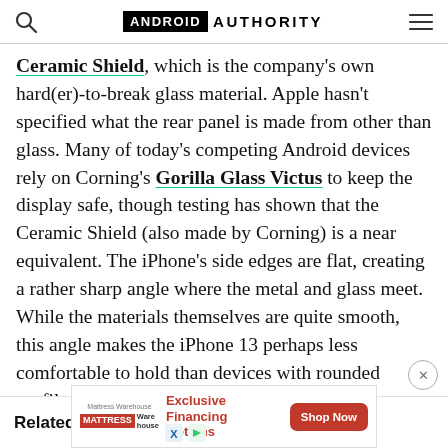ANDROID AUTHORITY
Ceramic Shield, which is the company's own hard(er)-to-break glass material. Apple hasn't specified what the rear panel is made from other than glass. Many of today's competing Android devices rely on Corning's Gorilla Glass Victus to keep the display safe, though testing has shown that the Ceramic Shield (also made by Corning) is a near equivalent. The iPhone's side edges are flat, creating a rather sharp angle where the metal and glass meet. While the materials themselves are quite smooth, this angle makes the iPhone 13 perhaps less comfortable to hold than devices with rounded profiles.
Related: Ou